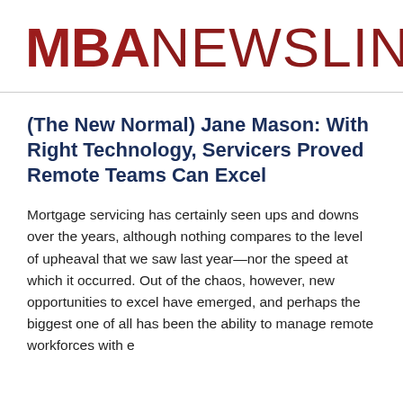[Figure (logo): MBA NEWSLINK logo in dark red/crimson. 'MBA' is bold and 'NEWSLINK' is in lighter weight, followed by a registered trademark symbol.]
(The New Normal) Jane Mason: With Right Technology, Servicers Proved Remote Teams Can Excel
Mortgage servicing has certainly seen ups and downs over the years, although nothing compares to the level of upheaval that we saw last year—nor the speed at which it occurred. Out of the chaos, however, new opportunities to excel have emerged, and perhaps the biggest one of all has been the ability to manage remote workforces with ease...